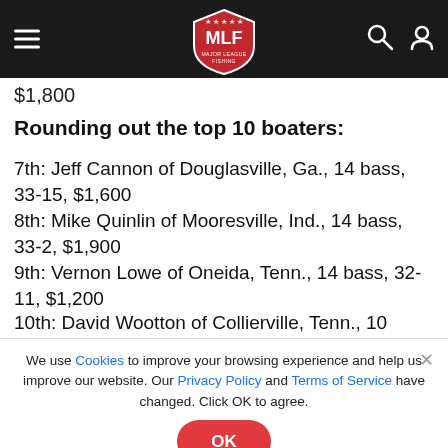MLF – Major League Fishing navigation bar
$1,800
Rounding out the top 10 boaters:
7th: Jeff Cannon of Douglasville, Ga., 14 bass, 33-15, $1,600
8th: Mike Quinlin of Mooresville, Ind., 14 bass, 33-2, $1,900
9th: Vernon Lowe of Oneida, Tenn., 14 bass, 32-11, $1,200
10th: David Wootton of Collierville, Tenn., 10 bass, 30-10, $1,000
We use Cookies to improve your browsing experience and help us improve our website. Our Privacy Policy and Terms of Service have changed. Click OK to agree.
[Figure (logo): BetRiversBet – Official Partner of Major League Fishing banner ad]